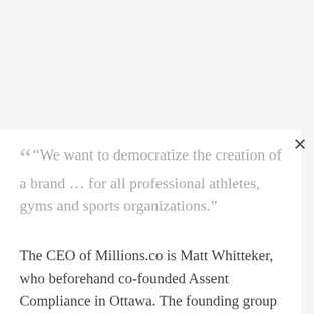“We want to democratize the creation of a brand ... for all professional athletes, gyms and sports organizations.”
The CEO of Millions.co is Matt Whitteker, who beforehand co-founded Assent Compliance in Ottawa. The founding group additionally contains Scott Whitteker, Matt’s brother who runs the Fight For The Cure charity boxing occasion, Adrian Salamunovic, an Ottawa entrepreneur who based digital artwork startup CanvasPop, and Brandon